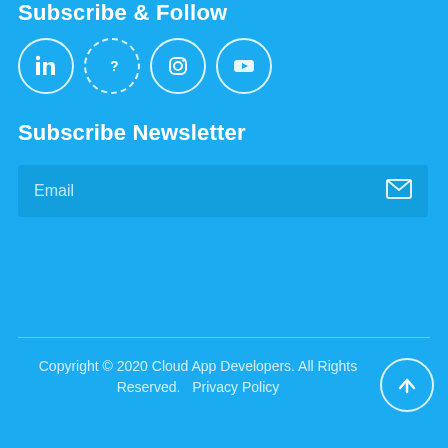Subscribe & Follow
[Figure (illustration): Four social media icon circles: LinkedIn, a question/info icon, Instagram, YouTube]
Subscribe Newsletter
[Figure (other): Email input field with envelope icon on the right, placeholder text 'Email']
Copyright © 2020 Cloud App Developers. All Rights Reserved.   Privacy Policy